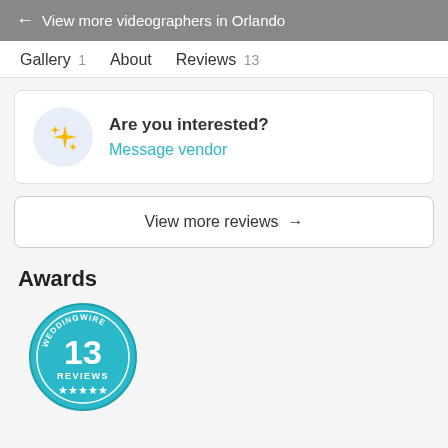← View more videographers in Orlando
Gallery 1   About   Reviews 13
Are you interested?
Message vendor
View more reviews →
Awards
[Figure (logo): WeddingWire badge showing 13 reviews with 5 stars]